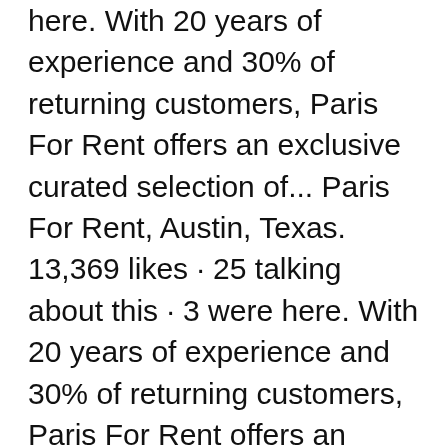here. With 20 years of experience and 30% of returning customers, Paris For Rent offers an exclusive curated selection of... Paris For Rent, Austin, Texas. 13,369 likes · 25 talking about this · 3 were here. With 20 years of experience and 30% of returning customers, Paris For Rent offers an exclusive curated selection of...
Paris For Rent, Austin, Texas. 13,369 likes · 25 talking about this · 3 were here. With 20 years of experience and 30% of returning customers, Paris For Rent offers an exclusive curated selection of... A choice of furnished apartments for 1 week or 1 month. Specialist agencies, with a knowledge of